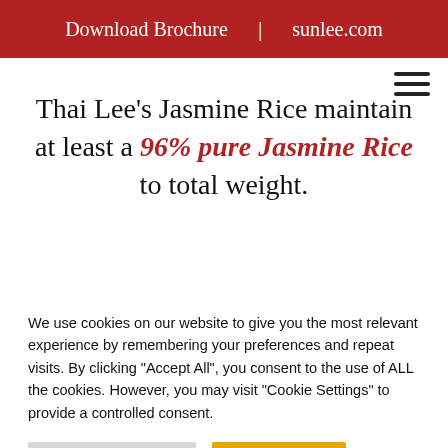Download Brochure | sunlee.com
Thai Lee's Jasmine Rice maintain at least a 96% pure Jasmine Rice to total weight.
We use cookies on our website to give you the most relevant experience by remembering your preferences and repeat visits. By clicking "Accept All", you consent to the use of ALL the cookies. However, you may visit "Cookie Settings" to provide a controlled consent.